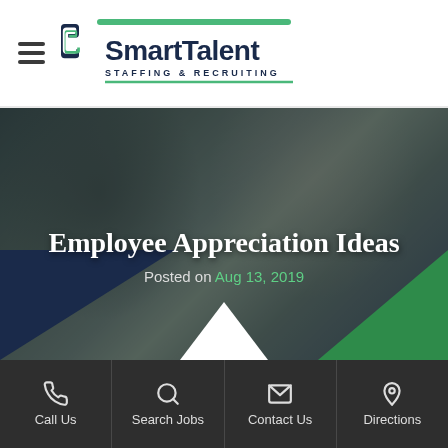SmartTalent Staffing & Recruiting
[Figure (photo): Hero image of two workers shaking hands in a warehouse setting, one wearing a yellow hard hat, overlaid with dark tint and geometric colored triangles]
Employee Appreciation Ideas
Posted on Aug 13, 2019
Call Us | Search Jobs | Contact Us | Directions